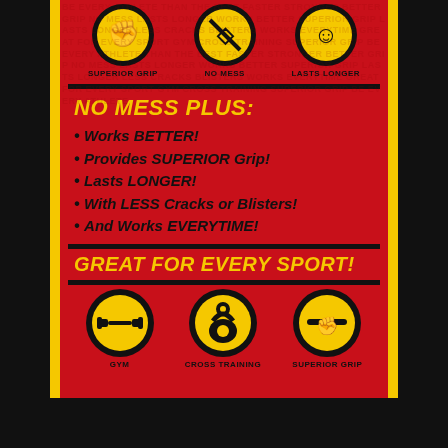[Figure (infographic): Top icons row: SUPERIOR GRIP (hand icon), NO MESS (diamond/no icon), LASTS LONGER (smiley/check icon) — all on yellow circles with black background circles]
NO MESS PLUS:
Works BETTER!
Provides SUPERIOR Grip!
Lasts LONGER!
With LESS Cracks or Blisters!
And Works EVERYTIME!
GREAT FOR EVERY SPORT!
[Figure (infographic): Bottom icons row: GYM (dumbbell icon), CROSS TRAINING (kettlebell icon), SUPERIOR GRIP (fist icon) — all yellow circles with black border]